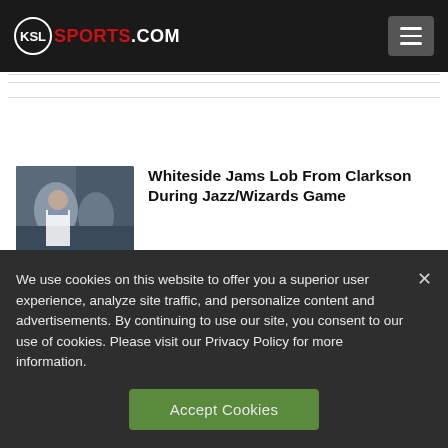KSL SPORTS.COM
[Figure (photo): Basketball player thumbnail image for the article about Whiteside Jams Lob]
Whiteside Jams Lob From Clarkson During Jazz/Wizards Game
We use cookies on this website to offer you a superior user experience, analyze site traffic, and personalize content and advertisements. By continuing to use our site, you consent to our use of cookies. Please visit our Privacy Policy for more information.
Accept Cookies